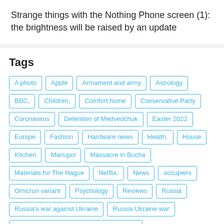Strange things with the Nothing Phone screen (1): the brightness will be raised by an update
Tags
A photo
Apple
Armament and army
Astrology
BBC,
Children,
Comfort home
Conservative Party
Coronavirus
Detention of Medvedchuk
Easter 2022
Europe
Fashion
Hardware news
Health,
House
Kitchen
Mariupol
Massacre in Bucha
Materials for The Hague
Netflix,
News
occupiers
Omicron variant
Psychology
Reviews
Russia
Russia's war against Ukraine
Russia-Ukraine war
Russia invasion of Ukraine: breaking news
Russian invasion of Ukraine
samsung
Sex